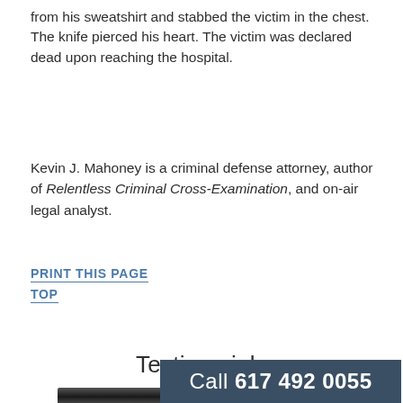from his sweatshirt and stabbed the victim in the chest. The knife pierced his heart. The victim was declared dead upon reaching the hospital.
Kevin J. Mahoney is a criminal defense attorney, author of Relentless Criminal Cross-Examination, and on-air legal analyst.
PRINT THIS PAGE
TOP
Testimonials
[Figure (other): Dark horizontal bar element below Testimonials heading]
Call 617 492 0055